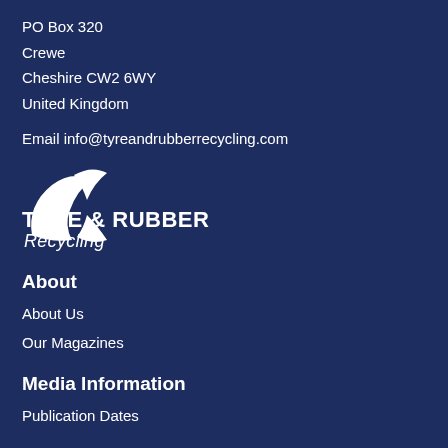PO Box 320
Crewe
Cheshire CW2 6WY
United Kingdom
Email info@tyreandrubberrecycling.com
[Figure (logo): Tyre & Rubber Recycling logo with stylized tyre mark icon and bold text]
About
About Us
Our Magazines
Media Information
Publication Dates